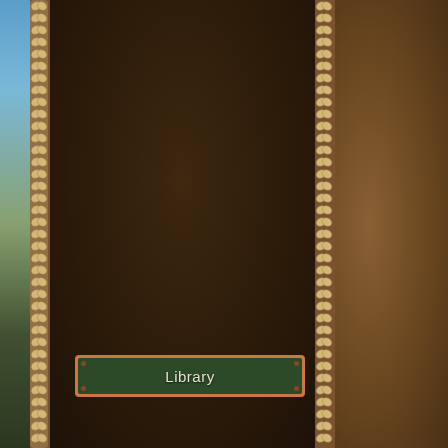[Figure (screenshot): Game screenshot showing a building exterior with two large dark brown wooden panels/doors separated by a rope-like border/trim. The left edge reveals an outdoor scene with blue sky and greenery. In the lower portion of the left panel, there is a green label with copper/orange border reading 'Library'.]